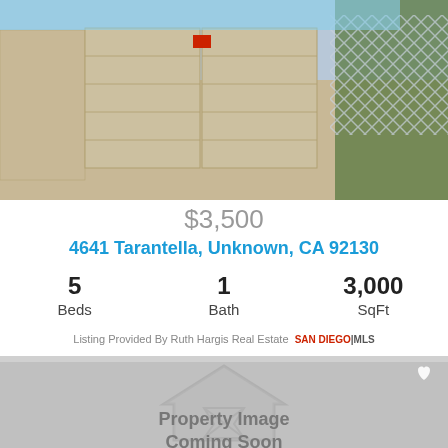[Figure (photo): Exterior photo of a residential house with two-car garage doors, white/tan facade, vegetation and lattice fence on the right side, blue sky in background]
$3,500
4641 Tarantella, Unknown, CA 92130
5 Beds   1 Bath   3,000 SqFt
Listing Provided By Ruth Hargis Real Estate SAN DIEGO|MLS
[Figure (illustration): Gray placeholder card with house outline icon, hourglass icon inside, heart icon in top right, and text 'Property Image Coming Soon']
Property Image
Coming Soon